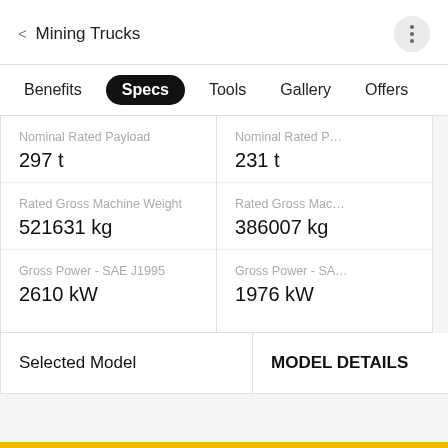< Mining Trucks
Benefits  Specs  Tools  Gallery  Offers
| Spec | Left Column | Right Column |
| --- | --- | --- |
| Nominal Rated Payload | 297 t | 231 t |
| Rated Gross Machine Weight | 521631 kg | 386007 kg |
| Gross Power - SAE J1995 | 2610 kW | 1976 kW |
|  | Selected Model | MODEL DETAILS |